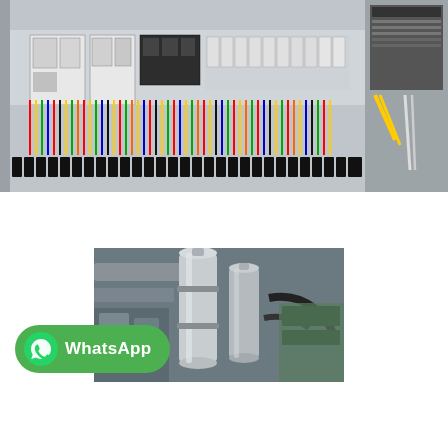[Figure (photo): Interior of an electrical control panel showing contactors, relays, terminal blocks, and multicolored wiring including red, yellow, green, blue, and black wires arranged in a steel enclosure with DIN rail mounted components.]
[Figure (photo): Industrial piping and filter equipment showing stainless steel cylindrical filter housings, pipes, and hoses in an industrial setting with a WhatsApp contact button overlaid on the lower left.]